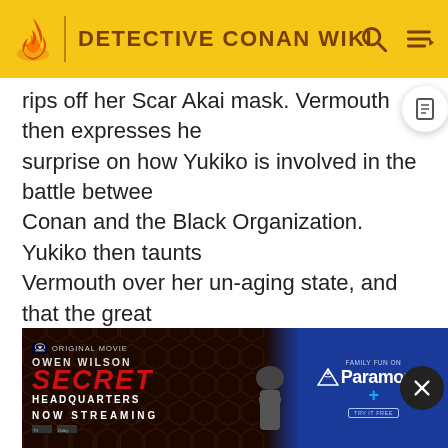DETECTIVE CONAN WIKI
rips off her Scar Akai mask. Vermouth then expresses her surprise on how Yukiko is involved in the battle between Conan and the Black Organization. Yukiko then taunts Vermouth over her un-aging state, and that the great "Sharon Vineyard" was nothing more than makeup. Vermouth, who seems to be dodging the topic of her un-aging state, proceeds to question Yukiko about her plan. Yukiko teasingly reveals a few details such as Masumi being retrieved from Vermouth's room already. Yukiko then returns to the topic of Vermouth's un-aging...explains...mouth since f...t want her un-...nd Haibara's state a secret from the Black Organization.
[Figure (screenshot): Advertisement for 'Secret Headquarters' (Owen Wilson) on Paramount+, shown as an overlay ad with close button]